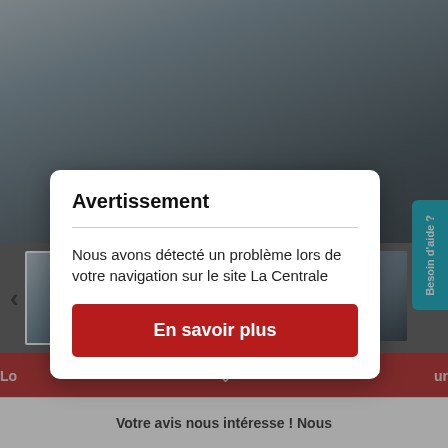[Figure (screenshot): Screenshot of a car listing website (La Centrale) showing a dark BMW SUV in a showroom, with thumbnail strip below, red action bars, and a teal help button on the right side.]
Besoin d'aide ?
Avertissement
Nous avons détecté un problème lors de votre navigation sur le site La Centrale
En savoir plus
Lo
ur
Votre avis nous intéresse ! Nous